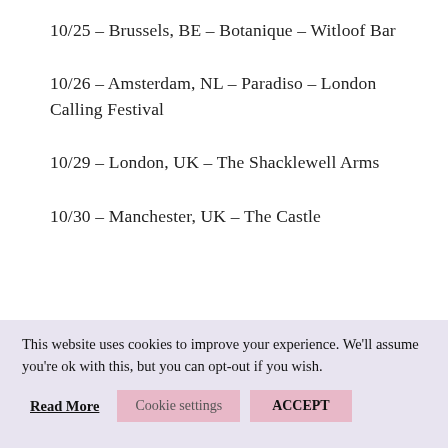10/25 – Brussels, BE – Botanique – Witloof Bar
10/26 – Amsterdam, NL – Paradiso – London Calling Festival
10/29 – London, UK – The Shacklewell Arms
10/30 – Manchester, UK – The Castle
This website uses cookies to improve your experience. We'll assume you're ok with this, but you can opt-out if you wish.
Read More | Cookie settings | ACCEPT